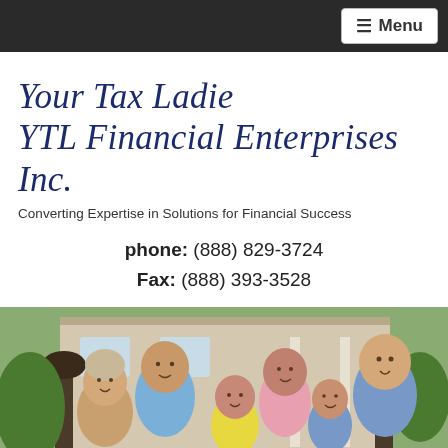≡ Menu
Your Tax Ladie
YTL Financial Enterprises Inc.
Converting Expertise in Solutions for Financial Success
phone: (888) 829-3724
Fax: (888) 393-3528
[Figure (photo): A multi-generational family of six smiling in front of a house, including grandparents, parents, and two children.]